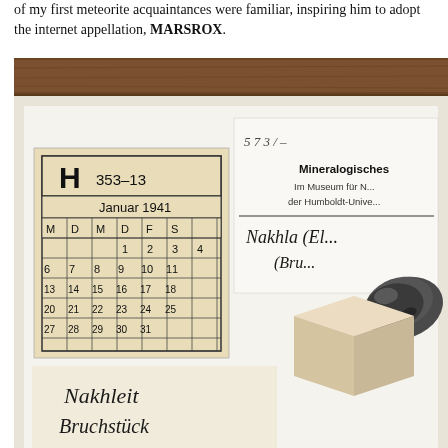of my first meteorite acquaintances were familiar, inspiring him to adopt the internet appellation, MARSROX.
[Figure (photo): Photograph of meteorite museum specimens with handwritten labels. Shows a January 1941 calendar card labeled 'H 353-13', a Mineralogisches (Mineralogical Museum, Humboldt University) label reading 'Nakhla (El... (Bru...' in cursive, a handwritten card reading 'Nakhleit Bruchstück 9g', a cream-colored cube specimen, and a dark metallic rock fragment, all arranged on a white background with a wooden surface at top.]